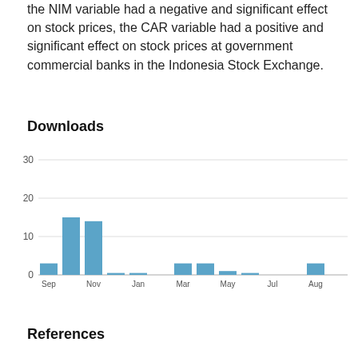the NIM variable had a negative and significant effect on stock prices, the CAR variable had a positive and significant effect on stock prices at government commercial banks in the Indonesia Stock Exchange.
Downloads
[Figure (bar-chart): Downloads]
References